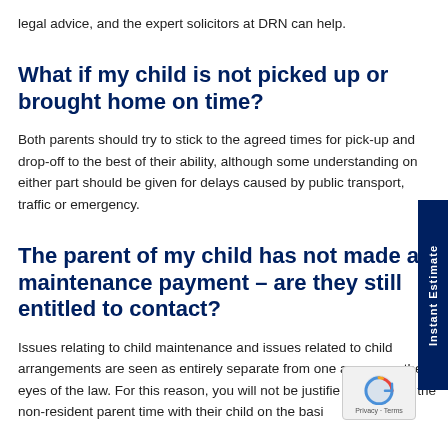legal advice, and the expert solicitors at DRN can help.
What if my child is not picked up or brought home on time?
Both parents should try to stick to the agreed times for pick-up and drop-off to the best of their ability, although some understanding on either part should be given for delays caused by public transport, traffic or emergency.
The parent of my child has not made a maintenance payment – are they still entitled to contact?
Issues relating to child maintenance and issues related to child arrangements are seen as entirely separate from one another in the eyes of the law. For this reason, you will not be justified in refusing the non-resident parent time with their child on the basis